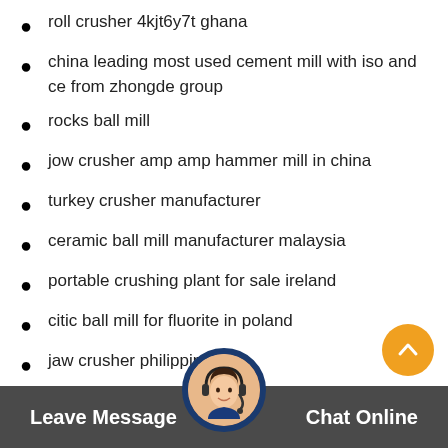roll crusher 4kjt6y7t ghana
china leading most used cement mill with iso and ce from zhongde group
rocks ball mill
jow crusher amp amp hammer mill in china
turkey crusher manufacturer
ceramic ball mill manufacturer malaysia
portable crushing plant for sale ireland
citic ball mill for fluorite in poland
jaw crusher philippines
taic grinding equipment supplier in nigeria
Leave Message   Chat Online